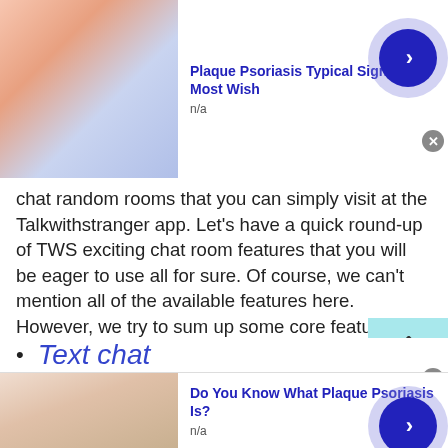[Figure (photo): Top advertisement banner: skin/psoriasis related image on left, blue navigation button on right. Title: Plaque Psoriasis Typical Signs - Most Wish, n/a]
chat random rooms that you can simply visit at the Talkwithstranger app. Let's have a quick round-up of TWS exciting chat room features that you will be eager to use all for sure. Of course, we can't mention all of the available features here. However, we try to sum up some core features that give you an idea of how TWS is going to be so popular worldwide.
Text chat
[Figure (photo): Bottom advertisement banner: skin/hand image on left, blue navigation button on right. Title: Do You Know What Plaque Psoriasis Is?, n/a]